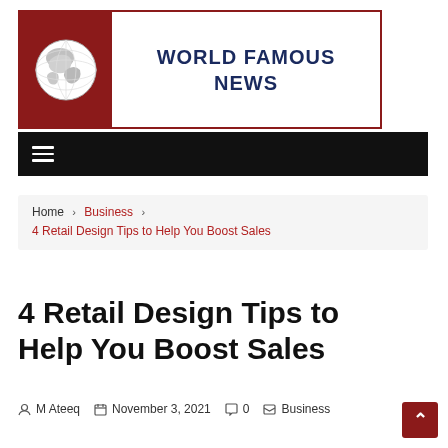[Figure (logo): World Famous News logo: red square with white globe on left, text 'WORLD FAMOUS NEWS' in dark navy on right, all surrounded by dark red border]
[Figure (other): Black navigation bar with white hamburger menu icon (three horizontal lines)]
Home > Business > 4 Retail Design Tips to Help You Boost Sales
4 Retail Design Tips to Help You Boost Sales
M Ateeq   November 3, 2021   0   Business